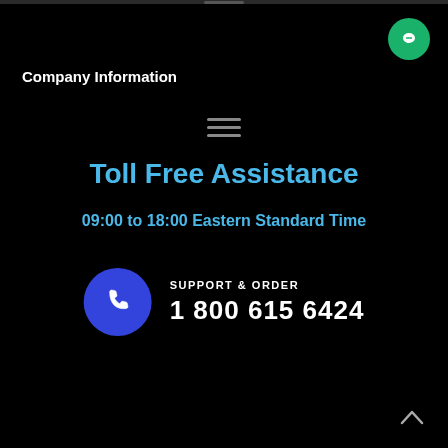[Figure (screenshot): Green chat button circle in top right corner]
Company Information
[Figure (other): Hamburger menu icon with three horizontal lines]
Toll Free Assistance
09:00 to 18:00 Eastern Standard Time
[Figure (infographic): Blue circle with phone handset icon alongside SUPPORT & ORDER label and phone number 1 800 615 6424]
SUPPORT & ORDER
1 800 615 6424